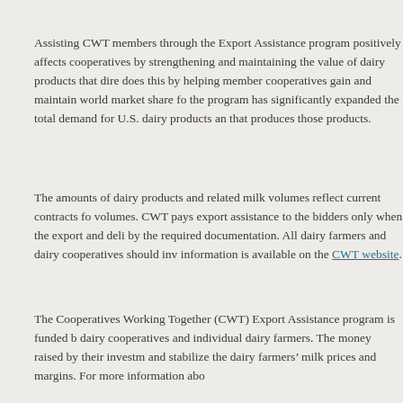Assisting CWT members through the Export Assistance program positively affects cooperatives by strengthening and maintaining the value of dairy products that dire does this by helping member cooperatives gain and maintain world market share fo the program has significantly expanded the total demand for U.S. dairy products an that produces those products.
The amounts of dairy products and related milk volumes reflect current contracts fo volumes. CWT pays export assistance to the bidders only when the export and deli by the required documentation. All dairy farmers and dairy cooperatives should inv information is available on the CWT website.
The Cooperatives Working Together (CWT) Export Assistance program is funded b dairy cooperatives and individual dairy farmers. The money raised by their investm and stabilize the dairy farmers' milk prices and margins. For more information abo